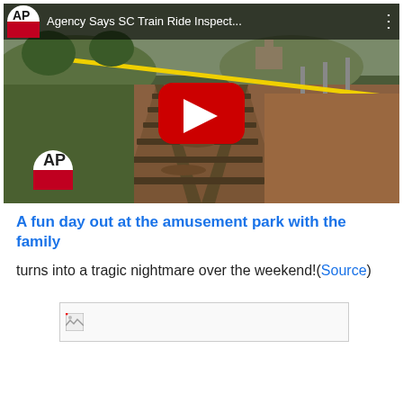[Figure (screenshot): YouTube video thumbnail showing AP news video titled 'Agency Says SC Train Ride Inspect...' with a train track scene and red YouTube play button overlay. AP logo visible in top-left corner and bottom-left of video.]
A fun day out at the amusement park with the family
turns into a tragic nightmare over the weekend!(Source)
[Figure (photo): Broken/missing image placeholder]